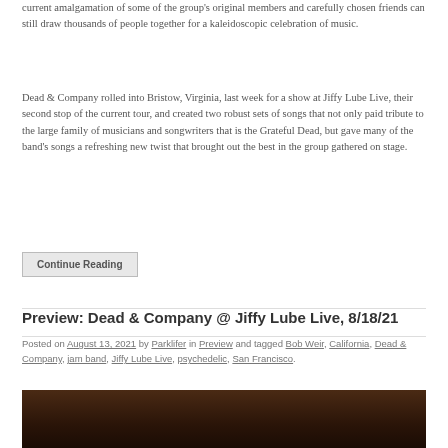current amalgamation of some of the group's original members and carefully chosen friends can still draw thousands of people together for a kaleidoscopic celebration of music.
Dead & Company rolled into Bristow, Virginia, last week for a show at Jiffy Lube Live, their second stop of the current tour, and created two robust sets of songs that not only paid tribute to the large family of musicians and songwriters that is the Grateful Dead, but gave many of the band's songs a refreshing new twist that brought out the best in the group gathered on stage.
Continue Reading
Preview: Dead & Company @ Jiffy Lube Live, 8/18/21
Posted on August 13, 2021 by Parklifer in Preview and tagged Bob Weir, California, Dead & Company, jam band, Jiffy Lube Live, psychedelic, San Francisco.
[Figure (photo): Dark brown wooden surface photo, partially visible at bottom of page]